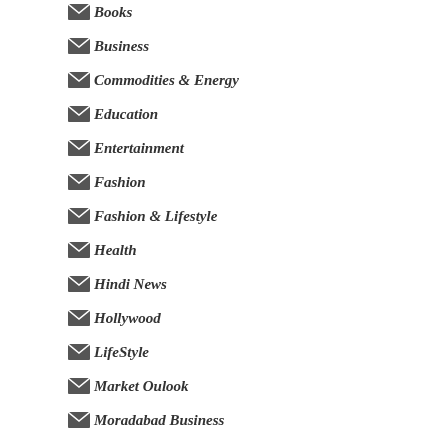Books
Business
Commodities & Energy
Education
Entertainment
Fashion
Fashion & Lifestyle
Health
Hindi News
Hollywood
LifeStyle
Market Oulook
Moradabad Business